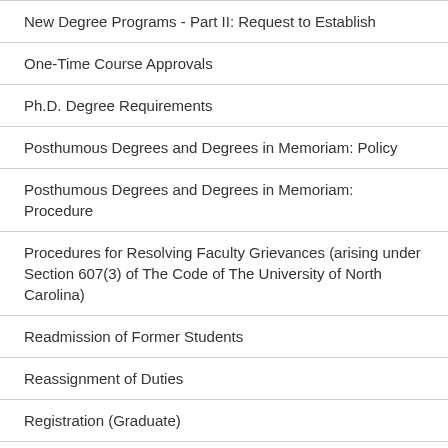New Degree Programs - Part II: Request to Establish
One-Time Course Approvals
Ph.D. Degree Requirements
Posthumous Degrees and Degrees in Memoriam: Policy
Posthumous Degrees and Degrees in Memoriam: Procedure
Procedures for Resolving Faculty Grievances (arising under Section 607(3) of The Code of The University of North Carolina)
Readmission of Former Students
Reassignment of Duties
Registration (Graduate)
Registration (Undergraduate)